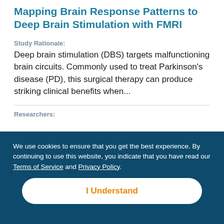Mapping Brain Response Patterns to Deep Brain Stimulation with FMRI
Study Rationale:
Deep brain stimulation (DBS) targets malfunctioning brain circuits. Commonly used to treat Parkinson's disease (PD), this surgical therapy can produce striking clinical benefits when...
Researchers:
We use cookies to ensure that you get the best experience. By continuing to use this website, you indicate that you have read our Terms of Service and Privacy Policy.
I Understand